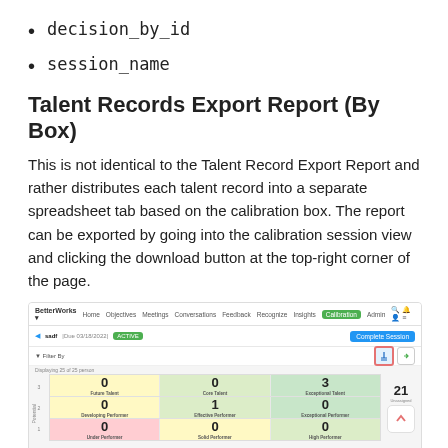decision_by_id
session_name
Talent Records Export Report (By Box)
This is not identical to the Talent Record Export Report and rather distributes each talent record into a separate spreadsheet tab based on the calibration box. The report can be exported by going into the calibration session view and clicking the download button at the top-right corner of the page.
[Figure (screenshot): Screenshot of a calibration session view in BetterWorks application, showing a 3x3 talent grid with counts per box (0, 0, 3, 0, 1, 0, 0, 0, 0), 21 unassigned, and a table listing employees with columns for Manager, Performance Assessment, Calibrated Performance, Potential Assessment, Calibrated Potential, and Risk Of Loss. A download button (highlighted with orange border) is visible at the top-right of the session.]